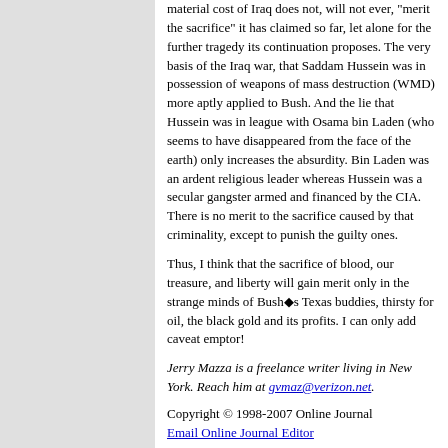material cost of Iraq does not, will not ever, "merit the sacrifice" it has claimed so far, let alone for the further tragedy its continuation proposes. The very basis of the Iraq war, that Saddam Hussein was in possession of weapons of mass destruction (WMD) more aptly applied to Bush. And the lie that Hussein was in league with Osama bin Laden (who seems to have disappeared from the face of the earth) only increases the absurdity. Bin Laden was an ardent religious leader whereas Hussein was a secular gangster armed and financed by the CIA. There is no merit to the sacrifice caused by that criminality, except to punish the guilty ones.
Thus, I think that the sacrifice of blood, our treasure, and liberty will gain merit only in the strange minds of Bush◆s Texas buddies, thirsty for oil, the black gold and its profits. I can only add caveat emptor!
Jerry Mazza is a freelance writer living in New York. Reach him at gvmaz@verizon.net.
Copyright © 1998-2007 Online Journal
Email Online Journal Editor
Top of Page